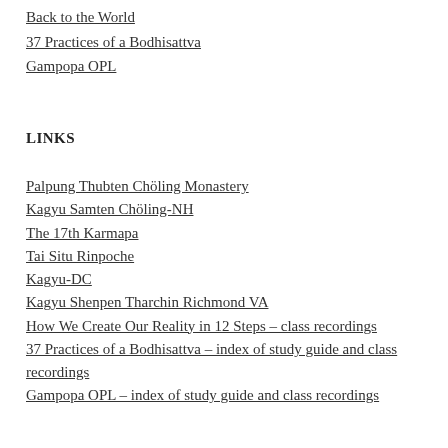Back to the World
37 Practices of a Bodhisattva
Gampopa OPL
LINKS
Palpung Thubten Chöling Monastery
Kagyu Samten Chöling-NH
The 17th Karmapa
Tai Situ Rinpoche
Kagyu-DC
Kagyu Shenpen Tharchin Richmond VA
How We Create Our Reality in 12 Steps – class recordings
37 Practices of a Bodhisattva – index of study guide and class recordings
Gampopa OPL – index of study guide and class recordings